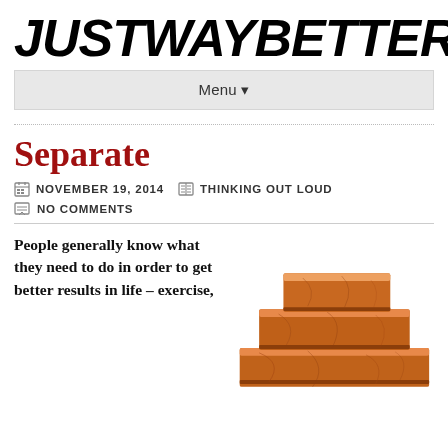JUSTWAYBETTER
Menu ▾
Separate
NOVEMBER 19, 2014   THINKING OUT LOUD
NO COMMENTS
People generally know what they need to do in order to get better results in life – exercise,
[Figure (photo): Stacked wooden boxes arranged in a staircase pattern, showing three graduated wooden boxes with natural wood grain texture.]